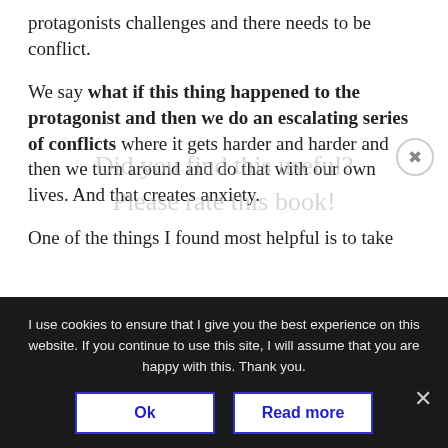protagonists challenges and there needs to be conflict.
We say what if this thing happened to the protagonist and then we do an escalating series of conflicts where it gets harder and harder and then we turn around and do that with our own lives. And that creates anxiety.
One of the things I found most helpful is to take
[Figure (other): Watermark overlay text: 'Did you find this useful? Please rate this book!']
I use cookies to ensure that I give you the best experience on this website. If you continue to use this site, I will assume that you are happy with this. Thank you.